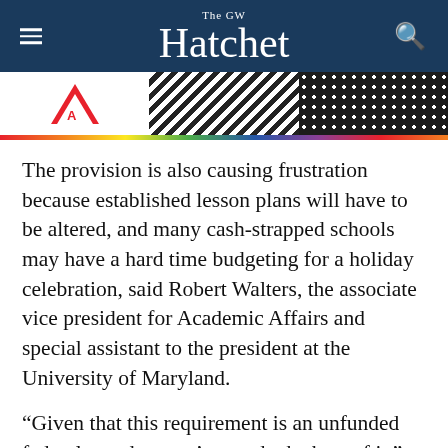The GW Hatchet
[Figure (photo): Banner advertisement strip with Adobe logo on left, diagonal black-and-white stripe pattern in center, and white polka dots on dark background on right, with a rainbow-colored horizontal bar below]
The provision is also causing frustration because established lesson plans will have to be altered, and many cash-strapped schools may have a hard time budgeting for a holiday celebration, said Robert Walters, the associate vice president for Academic Affairs and special assistant to the president at the University of Maryland.
“Given that this requirement is an unfunded federal mandate, we’ve made the best of it,” Walters said.